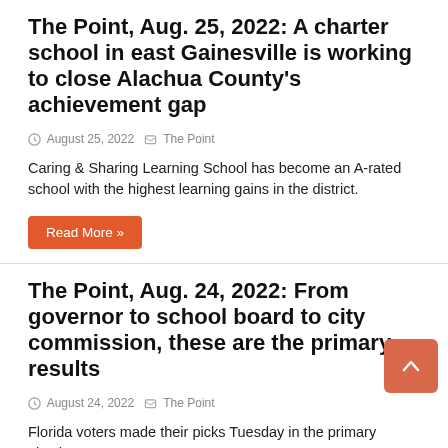The Point, Aug. 25, 2022: A charter school in east Gainesville is working to close Alachua County's achievement gap
August 25, 2022   The Point
Caring & Sharing Learning School has become an A-rated school with the highest learning gains in the district.
Read More »
The Point, Aug. 24, 2022: From governor to school board to city commission, these are the primary results
August 24, 2022   The Point
Florida voters made their picks Tuesday in the primary election.
Read More »
The Point, Aug.